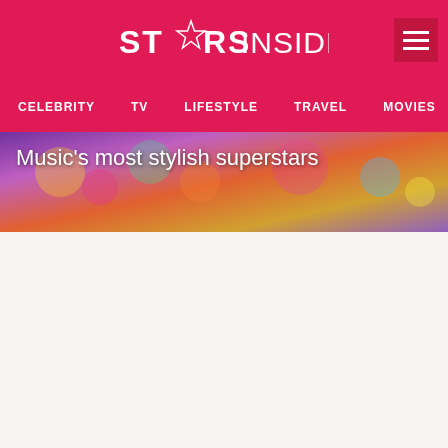STARS INSIDER
CELEBRITY  TV  LIFESTYLE  TRAVEL  MOVIES  MUSIC
Music's most stylish superstars